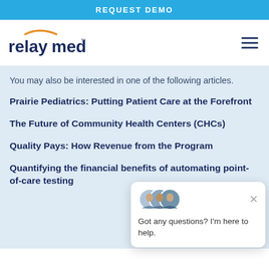REQUEST DEMO
[Figure (logo): RelayMed logo with orange arc above text]
You may also be interested in one of the following articles.
Prairie Pediatrics: Putting Patient Care at the Forefront
The Future of Community Health Centers (CHCs)
Quality Pays: How Revenue from the Program
Quantifying the financial benefits of automating point-of-care testing
[Figure (screenshot): Chat popup with team avatars and message: Got any questions? I'm here to help.]